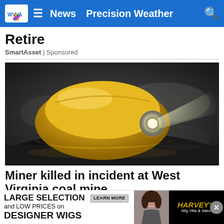WVVA News Precision Weather
Retire
SmartAsset | Sponsored
[Figure (photo): A yellow miner's hard hat with a black headlamp flashlight attached, lying on a dark rocky surface. A beam of light emanates from the lamp against a smoky/misty dark background.]
Miner killed in incident at West Virginia coal mine
A miner
[Figure (infographic): Advertisement banner: LARGE SELECTION and LOW PRICES on DESIGNER WIGS with a LEARN MORE button, and HARVEY'S Wig Villa & Salon branding with a woman's photo]